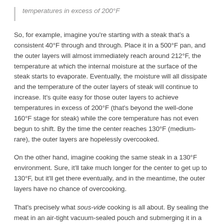temperatures in excess of 200°F
So, for example, imagine you're starting with a steak that's a consistent 40°F through and through. Place it in a 500°F pan, and the outer layers will almost immediately reach around 212°F, the temperature at which the internal moisture at the surface of the steak starts to evaporate. Eventually, the moisture will all dissipate and the temperature of the outer layers of steak will continue to increase. It's quite easy for those outer layers to achieve temperatures in excess of 200°F (that's beyond the well-done 160°F stage for steak) while the core temperature has not even begun to shift. By the time the center reaches 130°F (medium-rare), the outer layers are hopelessly overcooked.
On the other hand, imagine cooking the same steak in a 130°F environment. Sure, it'll take much longer for the center to get up to 130°F, but it'll get there eventually, and in the meantime, the outer layers have no chance of overcooking.
That's precisely what sous-vide cooking is all about. By sealing the meat in an air-tight vacuum-sealed pouch and submerging it in a water bath, the water very efficiently transfers heat energy to the steak while being